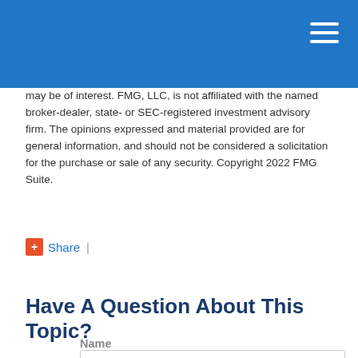may be of interest. FMG, LLC, is not affiliated with the named broker-dealer, state- or SEC-registered investment advisory firm. The opinions expressed and material provided are for general information, and should not be considered a solicitation for the purchase or sale of any security. Copyright 2022 FMG Suite.
+ Share  |
Have A Question About This Topic?
Name
Email